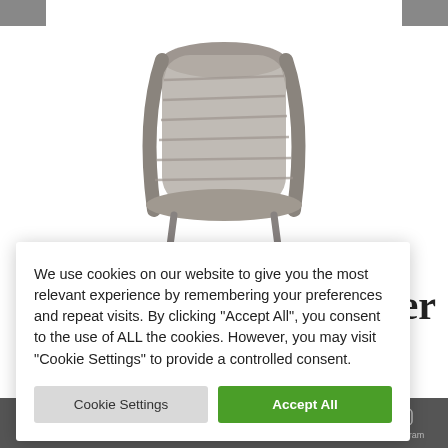[Figure (photo): A wicker/rattan outdoor stacking chair photographed from the front against a white background. The chair has a woven gray/taupe back and seat with metal legs.]
ater
We use cookies on our website to give you the most relevant experience by remembering your preferences and repeat visits. By clicking "Accept All", you consent to the use of ALL the cookies. However, you may visit "Cookie Settings" to provide a controlled consent.
Cookie Settings
Accept All
Email  Call  Cart  Quote  Facebook  Instagram